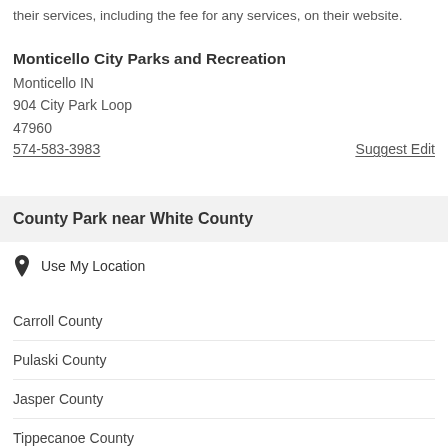their services, including the fee for any services, on their website.
Monticello City Parks and Recreation
Monticello IN
904 City Park Loop
47960
574-583-3983
Suggest Edit
County Park near White County
Use My Location
Carroll County
Pulaski County
Jasper County
Tippecanoe County
Benton County